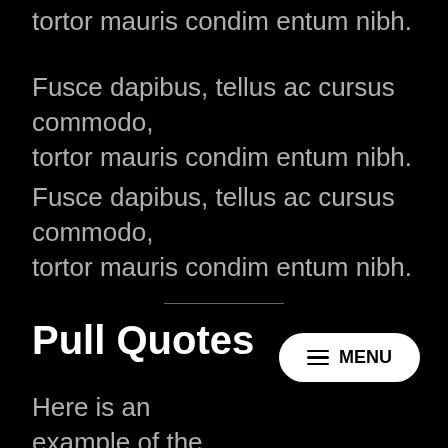tortor mauris condim entum nibh.
Fusce dapibus, tellus ac cursus commodo, tortor mauris condim entum nibh.
Fusce dapibus, tellus ac cursus commodo, tortor mauris condim entum nibh.
Pull Quotes
Here is an example of the core block, set to display centered. Nulla vitae